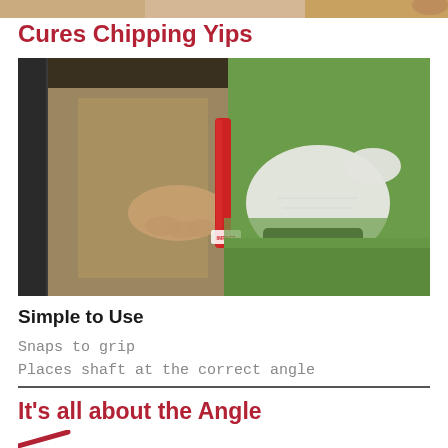[Figure (photo): Partial top strip showing the top of the previous image — a tan/brown texture strip at the top of the page.]
Cures Chipping Yips
[Figure (photo): Close-up photo of a golfer's hands demonstrating a grip aid device that snaps onto a golf club grip. The left hand wears a white golf glove. A red rod-shaped training aid is visible between the hands. Background shows a green golf course on the right and khaki pants/dark club shaft on the left.]
Simple to Use
Snaps to grip
Places shaft at the correct angle
It's all about the Angle